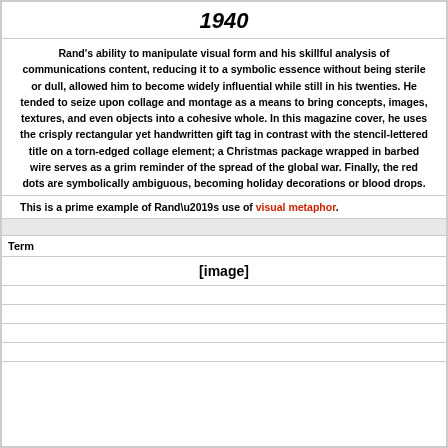1940
Rand's ability to manipulate visual form and his skillful analysis of communications content, reducing it to a symbolic essence without being sterile or dull, allowed him to become widely influential while still in his twenties. He tended to seize upon collage and montage as a means to bring concepts, images, textures, and even objects into a cohesive whole. In this magazine cover, he uses the crisply rectangular yet handwritten gift tag in contrast with the stencil-lettered title on a torn-edged collage element; a Christmas package wrapped in barbed wire serves as a grim reminder of the spread of the global war. Finally, the red dots are symbolically ambiguous, becoming holiday decorations or blood drops.
This is a prime example of Rand’s use of visual metaphor.
Term
[Figure (other): [image]]